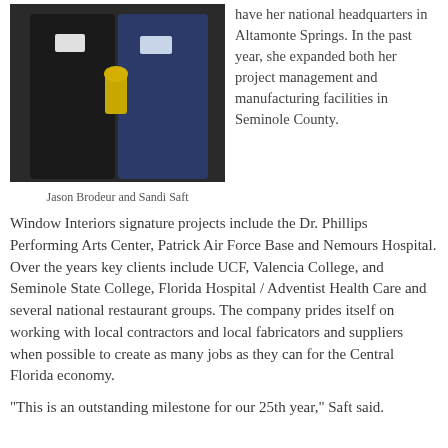[Figure (photo): Two people standing together at an event, one in a dark suit and one in a blue jacket, holding an award trophy.]
Jason Brodeur and Sandi Saft
have her national headquarters in Altamonte Springs. In the past year, she expanded both her project management and manufacturing facilities in Seminole County.
Window Interiors signature projects include the Dr. Phillips Performing Arts Center, Patrick Air Force Base and Nemours Hospital. Over the years key clients include UCF, Valencia College, and Seminole State College, Florida Hospital / Adventist Health Care and several national restaurant groups. The company prides itself on working with local contractors and local fabricators and suppliers when possible to create as many jobs as they can for the Central Florida economy.
"This is an outstanding milestone for our 25th year," Saft said.